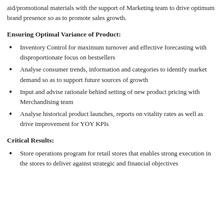aid/promotional materials with the support of Marketing team to drive optimum brand presence so as to promote sales growth.
Ensuring Optimal Variance of Product:
Inventory Control for maximum turnover and effective forecasting with disproportionate focus on bestsellers
Analyse consumer trends, information and categories to identify market demand so as to support future sources of growth
Input and advise rationale behind setting of new product pricing with Merchandising team
Analyse historical product launches, reports on vitality rates as well as drive improvement for YOY KPIs
Critical Results:
Store operations program for retail stores that enables strong execution in the stores to deliver against strategic and financial objectives